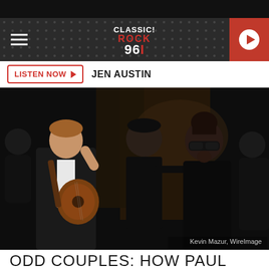Classic Rock 96.1
LISTEN NOW  JEN AUSTIN
[Figure (photo): Paul McCartney holding an acoustic guitar, Kanye West in center background, and Rihanna wearing sunglasses on the right. Photo credit: Kevin Mazur, WireImage]
Kevin Mazur, WireImage
ODD COUPLES: HOW PAUL